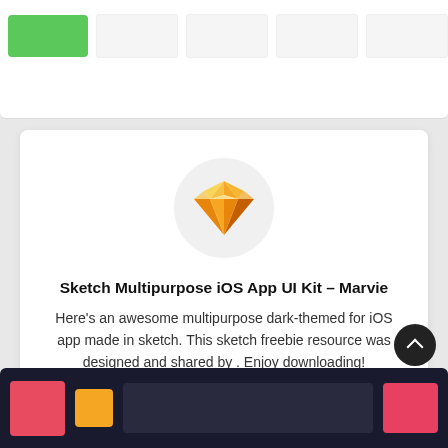[Figure (screenshot): Top partial card with green thumbnail and card images]
[Figure (logo): Sketch app diamond/gem logo icon in orange and yellow on a light grey circle background]
Sketch Multipurpose iOS App UI Kit – Marvie
Here's an awesome multipurpose dark-themed for iOS app made in sketch. This sketch freebie resource was designed and shared by . Enjoy downloading!
🔗 Free Download
[Figure (screenshot): Bottom partial card showing a dark-themed mobile UI with red, yellow and teal elements]